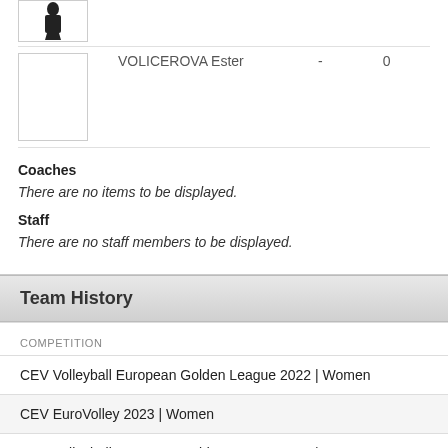[Figure (photo): Player photo placeholder (chess piece icon) top row]
[Figure (photo): Player photo placeholder (blank white box) for VOLICEROVA Ester]
VOLICEROVA Ester - 0 0 1973
Coaches
There are no items to be displayed.
Staff
There are no staff members to be displayed.
Team History
| COMPETITION |
| --- |
| CEV Volleyball European Golden League 2022 | Women |
| CEV EuroVolley 2023 | Women |
| CEV Volleyball European Golden League 2021 | Women |
| CEV Volleyball European Golden League 2020 | Women |
| CEV EuroVolley 2021 | Women |
| 2019 CEV Volleyball European Golden League | Women |